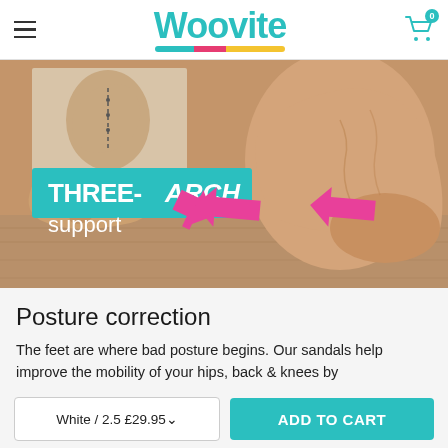Woovite
[Figure (photo): A close-up photo of bare feet on a wooden floor with a product image overlay showing pink arrows pointing to arch support areas. Text overlay reads 'THREE-ARCH support'.]
Posture correction
The feet are where bad posture begins. Our sandals help improve the mobility of your hips, back & knees by
White / 2.5 £29.95